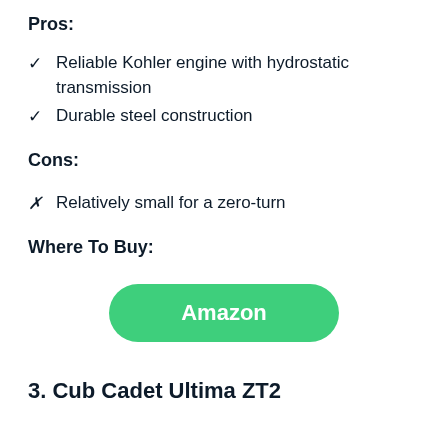Pros:
Reliable Kohler engine with hydrostatic transmission
Durable steel construction
Cons:
Relatively small for a zero-turn
Where To Buy:
[Figure (other): Green rounded rectangle button labeled Amazon]
3. Cub Cadet Ultima ZT2